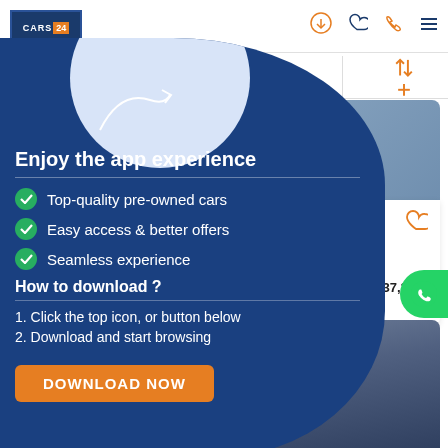[Figure (screenshot): Cars24 mobile app website screenshot showing car listings in the background]
[Figure (infographic): Blue overlay panel promoting the Cars24 app with features list and download button]
Enjoy the app experience
Top-quality pre-owned cars
Easy access & better offers
Seamless experience
How to download ?
1. Click the top icon, or button below
2. Download and start browsing
DOWNLOAD NOW